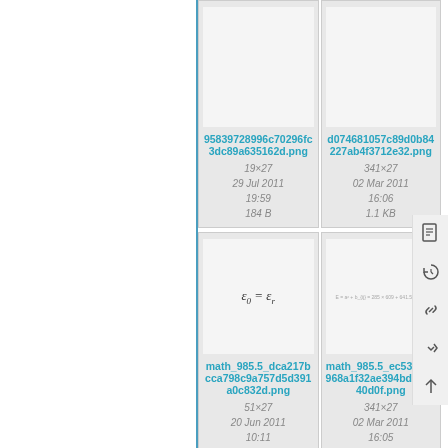[Figure (screenshot): File listing card: 95839728996c70296fc3dc89a635162d.png, 19×27, 29 Jul 2011 19:59, 184 B]
[Figure (screenshot): File listing card: d074681057c89d0b84227ab4f3712e32.png, 341×27, 02 Mar 2011 16:06, 1.1 KB]
[Figure (screenshot): File listing card with math formula epsilon_0 = epsilon_r: math_985.5_dca217bcca798c9a757d5d391a0c832d.png, 51×27, 20 Jun 2011 10:11]
[Figure (screenshot): File listing card with formula text: math_985.5_ec53e04e968a1f32ae394bdba9940d0f.png, 341×27, 02 Mar 2011 16:05]